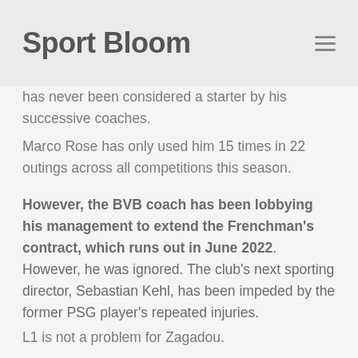Sport Bloom
has never been considered a starter by his successive coaches.
Marco Rose has only used him 15 times in 22 outings across all competitions this season.
However, the BVB coach has been lobbying his management to extend the Frenchman's contract, which runs out in June 2022. However, he was ignored. The club's next sporting director, Sebastian Kehl, has been impeded by the former PSG player's repeated injuries.
L1 is not a problem for Zagadou.